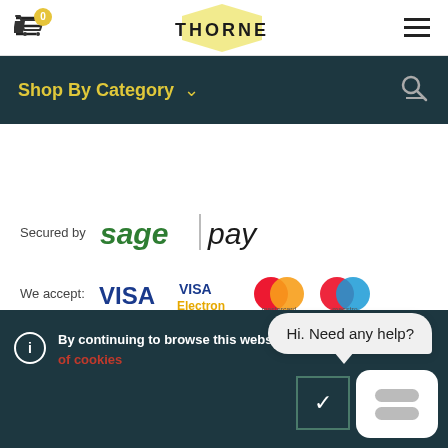[Figure (screenshot): Thorne website header with cart icon (badge showing 0), THORNE logo with yellow hexagon background, and hamburger menu icon]
[Figure (screenshot): Dark teal navigation bar with 'Shop By Category' dropdown text in yellow and a search icon on the right]
Secured by sage pay
[Figure (logo): Payment method logos: VISA, VISA Electron, Mastercard, Maestro, JCB, PayPal]
[Figure (screenshot): Chat bubble saying 'Hi. Need any help?' with chat widget icon]
By continuing to browse this website you agree to our use of cookies